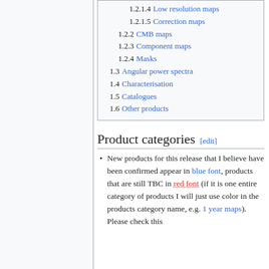1.2.1.4  Low resolution maps
1.2.1.5  Correction maps
1.2.2  CMB maps
1.2.3  Component maps
1.2.4  Masks
1.3  Angular power spectra
1.4  Characterisation
1.5  Catalogues
1.6  Other products
Product categories [edit]
New products for this release that I believe have been confirmed appear in blue font, products that are still TBC in red font (if it is one entire category of products I will just use color in the products category name, e.g. 1 year maps). Please check this